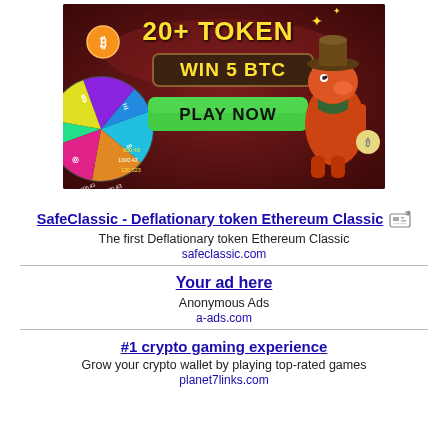[Figure (illustration): Crypto casino advertisement banner with dark red background. Shows '20+ TOKEN' in large yellow text, 'WIN 5 BTC' in a decorative box, 'PLAY NOW' green button, a spinning wheel with crypto tokens on the left, a Bitcoin coin icon, a cartoon dinosaur/crocodile character in cowboy hat holding a money bag on the right, and sparkle decorations.]
SafeClassic - Deflationary token Ethereum Classic
The first Deflationary token Ethereum Classic
safeclassic.com
Your ad here
Anonymous Ads
a-ads.com
#1 crypto gaming experience
Grow your crypto wallet by playing top-rated games
planet7links.com